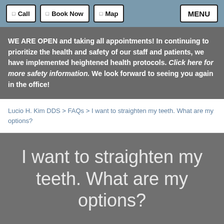Call | Book Now | Map | MENU
WE ARE OPEN and taking all appointments! In continuing to prioritize the health and safety of our staff and patients, we have implemented heightened health protocols. Click here for more safety information. We look forward to seeing you again in the office!
Lucio H. Kim DDS > FAQs > I want to straighten my teeth. What are my options?
I want to straighten my teeth. What are my options?